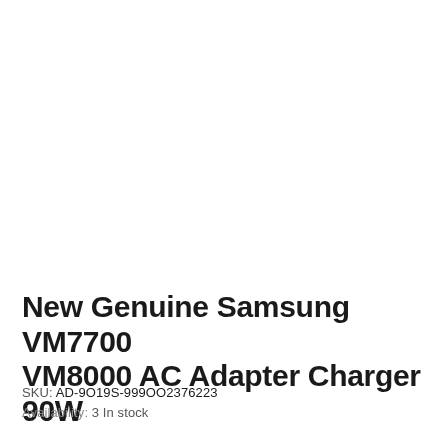New Genuine Samsung VM7700 VM8000 AC Adapter Charger 90W
SKU: AD-9O19S-999OO2376223
Availability: 3 In stock